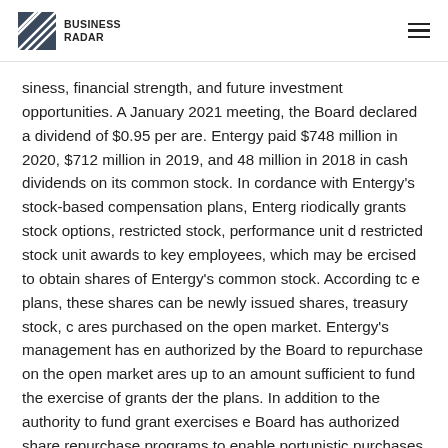BUSINESS RADAR
siness, financial strength, and future investment opportunities. At January 2021 meeting, the Board declared a dividend of $0.95 per share. Entergy paid $748 million in 2020, $712 million in 2019, and 48 million in 2018 in cash dividends on its common stock. In cordance with Entergy’s stock-based compensation plans, Entergy periodically grants stock options, restricted stock, performance units and restricted stock unit awards to key employees, which may be exercised to obtain shares of Entergy’s common stock. According to e plans, these shares can be newly issued shares, treasury stock, or ares purchased on the open market. Entergy’s management has been authorized by the Board to repurchase on the open market ares up to an amount sufficient to fund the exercise of grants der the plans. In addition to the authority to fund grant exercises, e Board has authorized share repurchase programs to enable portunistic purchases in response to market conditions. In tober 2010 the Board granted authority for a $500 million share